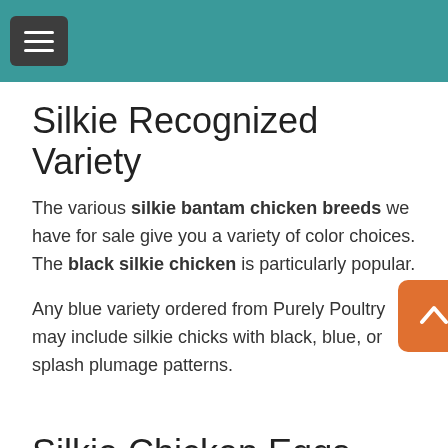Navigation header with hamburger menu on teal background
Silkie Recognized Variety
The various silkie bantam chicken breeds we have for sale give you a variety of color choices. The black silkie chicken is particularly popular.
Any blue variety ordered from Purely Poultry may include silkie chicks with black, blue, or splash plumage patterns.
Silkie Chicken Eggs
Production: Silkies are one of the most popular breeds for exhibition and are quite common. Silkie bantam chickens are not considered good layers as they tend to be broody, wanting to set on the bantam silkie chicken eggs instead. Their skin, bones, and meat are bluish-black and they are seen as gourmet food for some.